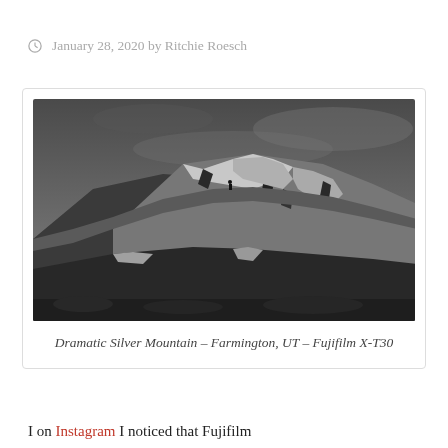January 28, 2020 by Ritchie Roesch
[Figure (photo): Black and white photograph of a dramatic rocky mountain — Dramatic Silver Mountain, Farmington, UT, taken with Fujifilm X-T30. The mountain ridge is snow-dusted with dark rocky outcroppings against a grey overcast sky.]
Dramatic Silver Mountain – Farmington, UT – Fujifilm X-T30
I on Instagram I noticed that Fujifilm